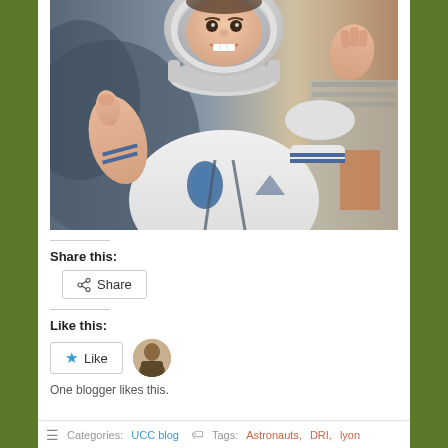[Figure (photo): Child dressed in white astronaut costume and helmet, giving a thumbs up, smiling at the camera]
Share this:
Share
Like this:
Like
One blogger likes this.
Categories: UCC blog   Tags: Astronauts, DRI, lyon